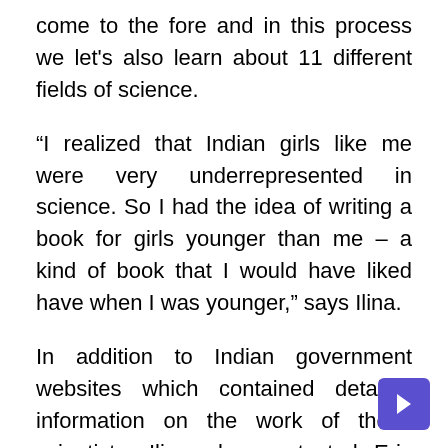come to the fore and in this process we let's also learn about 11 different fields of science.
“I realized that Indian girls like me were very underrepresented in science. So I had the idea of writing a book for girls younger than me – a kind of book that I would have liked have when I was younger,” says Ilina.
In addition to Indian government websites which contained detailed information on the work of these scientists, Ilina also contacted Eric Falt, Director and UNESCO Representative in Bhutan, India, Maldives and Sri Lanka, who also wrote the preface to the book. What began as a series of portraits of women slowly took on the form of a